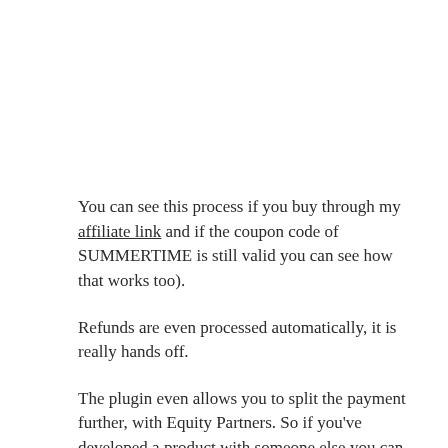You can see this process if you buy through my affiliate link and if the coupon code of SUMMERTIME is still valid you can see how that works too).
Refunds are even processed automatically, it is really hands off.
The plugin even allows you to split the payment further, with Equity Partners. So if you've developed a product with someone else you can have e.g 50%